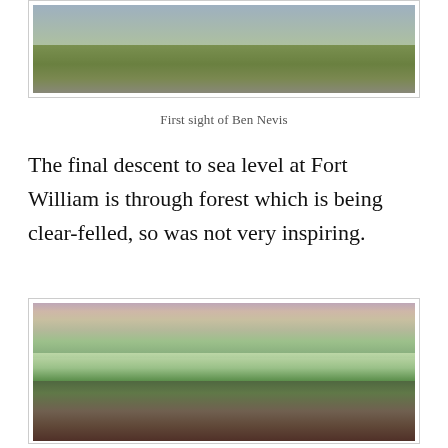[Figure (photo): Landscape photo showing a hillside with rocky terrain and brown/green vegetation, first sight of Ben Nevis]
First sight of Ben Nevis
The final descent to sea level at Fort William is through forest which is being clear-felled, so was not very inspiring.
[Figure (photo): Landscape photo showing a valley with clear-felled forest in the foreground, green fields and forested hillsides with reddish-brown mountains in the background]